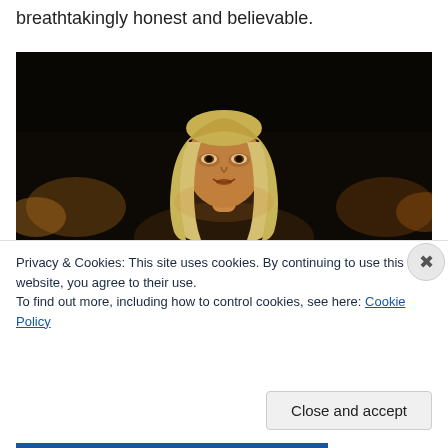breathtakingly honest and believable.
[Figure (photo): A woman with long blonde hair in a dark scene, appearing to be a still from a TV show or movie (possibly Game of Thrones character Daenerys Targaryen).]
Privacy & Cookies: This site uses cookies. By continuing to use this website, you agree to their use.
To find out more, including how to control cookies, see here: Cookie Policy
Close and accept